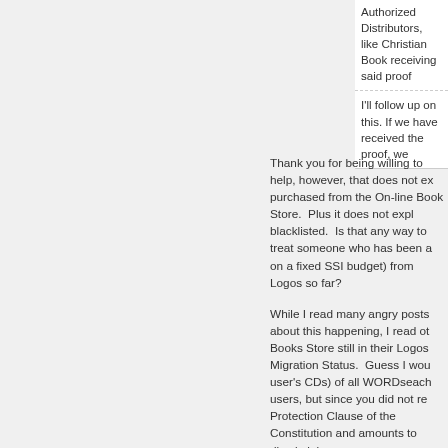| Authorized Distributors, like Christian Book receiving said proof |
| I'll follow up on this. If we have received the proof, we |
Thank you for being willing to help, however, that does not explain why it was purchased from the On-line Book Store. Plus it does not explain why I was blacklisted. Is that any way to treat someone who has been a (on a fixed SSI budget) from Logos so far?
While I read many angry posts about this happening, I read other Books Store still in their Logos Migration Status. Guess I would user's CDs) of all WORDseach users, but since you did not re Protection Clause of the Constitution and amounts to discrimini
While I appreciate your denial of my contention above, I do no malicious intent, but you yourself said you did not do this to al had a large library or if some actually did have smaller library.
So whether or not your assertion is true, let me restate my co contention is not true. You folks left us with very little informa actions, all we can do is speculate, due to lack of information t
If my assertion is incorrect, I will be glad to retract my contenti
But for now, I will acknowledge my contention could be wrong for now, my contention is not a known fact, but my suspicion f
PS.
You said, "But there are an additional 7,055 unlocks associate my before and after list, I believe that should be closer to 2000 would remove all the books you say are in the Online Booksto